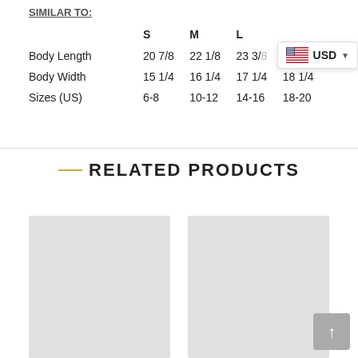SIMILAR TO:
|  | S | M | L | XL |
| --- | --- | --- | --- | --- |
| Body Length | 20 7/8 | 22 1/8 | 23 3/8 | 24 5/8 |
| Body Width | 15 1/4 | 16 1/4 | 17 1/4 | 18 1/4 |
| Sizes (US) | 6-8 | 10-12 | 14-16 | 18-20 |
RELATED PRODUCTS
[Figure (photo): Product thumbnail placeholder left]
[Figure (photo): Product thumbnail placeholder right]